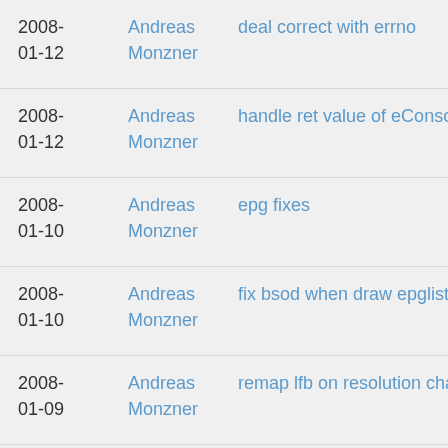2008-01-12 | Andreas Monzner | deal correct with errno
2008-01-12 | Andreas Monzner | handle ret value of eConsoleAppContainer.ex
2008-01-10 | Andreas Monzner | epg fixes
2008-01-10 | Andreas Monzner | fix bsod when draw epglist entrys without beg
2008-01-09 | Andreas Monzner | remap lfb on resolution change
2008-01-08 | Andreas Monzner | use vfork instead of fork (this hopefully fixes t